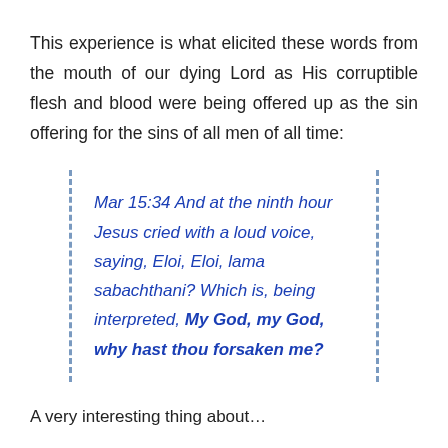This experience is what elicited these words from the mouth of our dying Lord as His corruptible flesh and blood were being offered up as the sin offering for the sins of all men of all time:
Mar 15:34 And at the ninth hour Jesus cried with a loud voice, saying, Eloi, Eloi, lama sabachthani? Which is, being interpreted, My God, my God, why hast thou forsaken me?
A very interesting thing about…